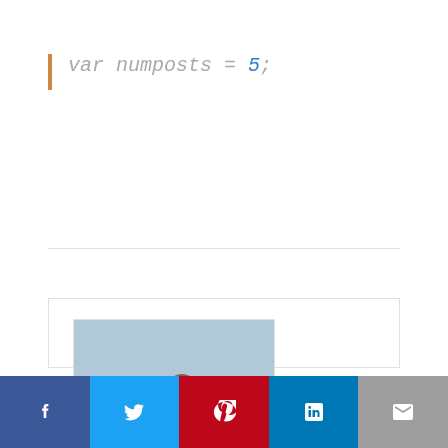[Figure (photo): Author photo of Rishabh Singh sitting outdoors on a rock with trees and mountains in the background]
Rishabh Singh
[Figure (infographic): Social media share bar with icons for Facebook, Twitter, Pinterest, LinkedIn, and Email]